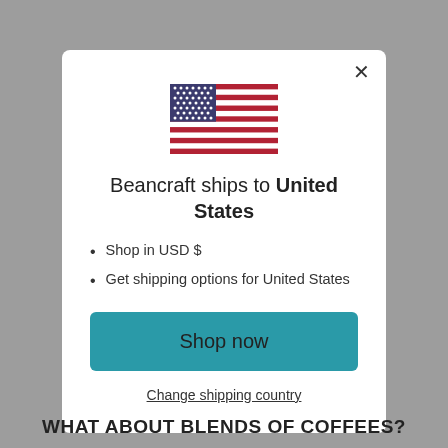[Figure (illustration): US flag SVG illustration centered at top of modal]
Beancraft ships to United States
Shop in USD $
Get shipping options for United States
Shop now
Change shipping country
WHAT ABOUT BLENDS OF COFFEES?